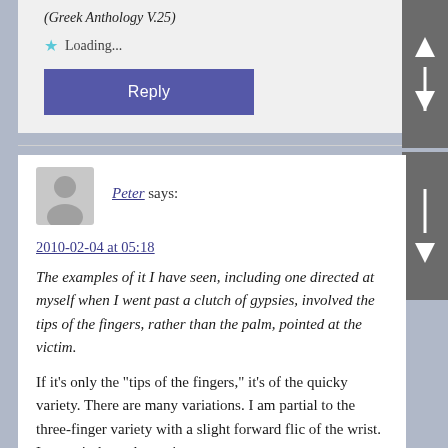(Greek Anthology V.25)
Loading...
Reply
[Figure (illustration): User avatar placeholder: gray silhouette of a person on light gray background]
Peter says:
2010-02-04 at 05:18
The examples of it I have seen, including one directed at myself when I went past a clutch of gypsies, involved the tips of the fingers, rather than the palm, pointed at the victim.
If it's only the "tips of the fingers," it's of the quicky variety. There are many variations. I am partial to the three-finger variety with a slight forward flic of the wrist. I guess it depends on circumstances.
Loading...